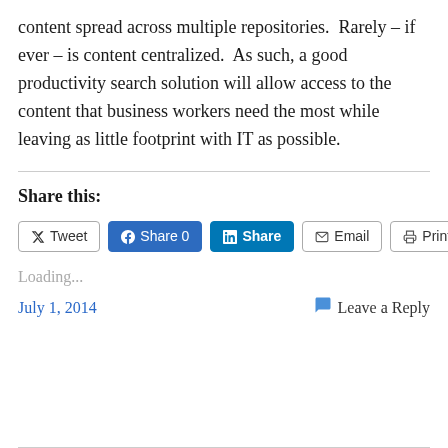content spread across multiple repositories.  Rarely – if ever – is content centralized.  As such, a good productivity search solution will allow access to the content that business workers need the most while leaving as little footprint with IT as possible.
Share this:
[Figure (screenshot): Social share buttons: Tweet, Facebook Share 0, LinkedIn Share, Email, Print]
Loading...
July 1, 2014
Leave a Reply